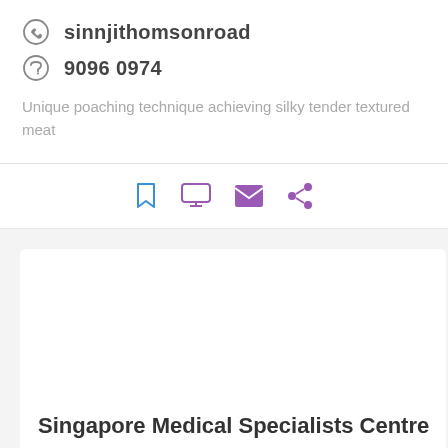sinnjithomsonroad
9096 0974
Unique poaching technique achieving silky tender textured meat
[Figure (infographic): Action bar with four icons: bookmark (blue outline), monitor/screen (purple outline), envelope (purple filled), share (purple filled)]
Singapore Medical Specialists Centre